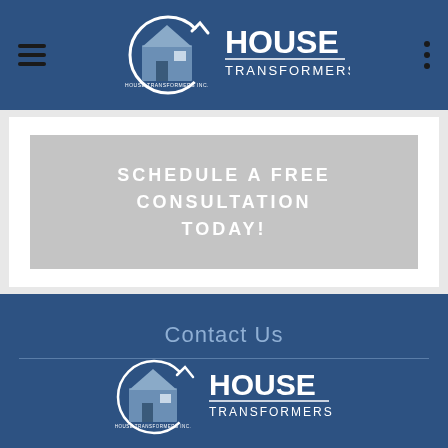[Figure (logo): House Transformers Inc. logo in navigation header — circular icon with house illustration and text 'HOUSE TRANSFORMERS INC.']
SCHEDULE A FREE CONSULTATION TODAY!
Contact Us
[Figure (logo): House Transformers Inc. logo in footer — circular icon with house illustration and text 'HOUSE TRANSFORMERS INC.']